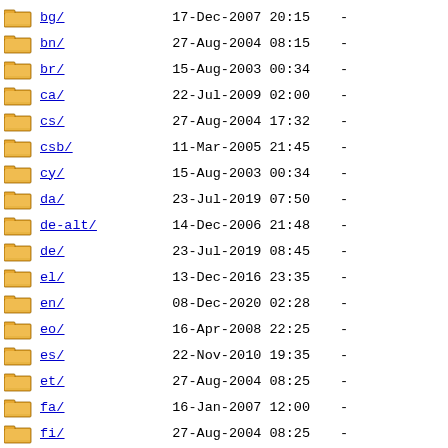bg/  17-Dec-2007 20:15  -
bn/  27-Aug-2004 08:15  -
br/  15-Aug-2003 00:34  -
ca/  22-Jul-2009 02:00  -
cs/  27-Aug-2004 17:32  -
csb/  11-Mar-2005 21:45  -
cy/  15-Aug-2003 00:34  -
da/  23-Jul-2019 07:50  -
de-alt/  14-Dec-2006 21:48  -
de/  23-Jul-2019 08:45  -
el/  13-Dec-2016 23:35  -
en/  08-Dec-2020 02:28  -
eo/  16-Apr-2008 22:25  -
es/  22-Nov-2010 19:35  -
et/  27-Aug-2004 08:25  -
fa/  16-Jan-2007 12:00  -
fi/  27-Aug-2004 08:25  -
fo/  27-Aug-2004 17:32  -